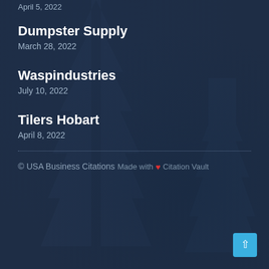April 5, 2022
Dumpster Supply
March 28, 2022
Waspindustries
July 10, 2022
Tilers Hobart
April 8, 2022
© USA Business Citations
Made with ❤ Citation Vault